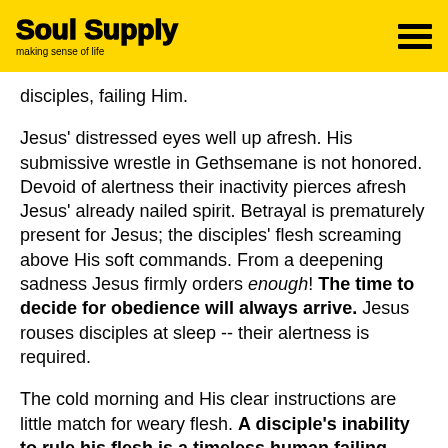Soul Supply — making sense of life
disciples, failing Him.
Jesus' distressed eyes well up afresh. His submissive wrestle in Gethsemane is not honored. Devoid of alertness their inactivity pierces afresh Jesus' already nailed spirit. Betrayal is prematurely present for Jesus; the disciples' flesh screaming above His soft commands. From a deepening sadness Jesus firmly orders enough! The time to decide for obedience will always arrive. Jesus rouses disciples at sleep -- their alertness is required.
The cold morning and His clear instructions are little match for weary flesh. A disciple's inability to rule his flesh is a timeless human failing. This malaise still afflicts the hearts of followers...